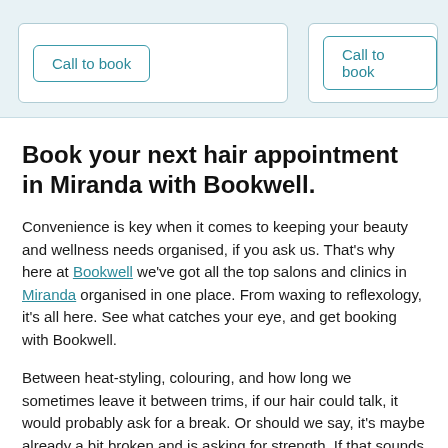[Figure (screenshot): Top section with light blue background showing two white cards each containing a 'Call to book' button with teal border]
Book your next hair appointment in Miranda with Bookwell.
Convenience is key when it comes to keeping your beauty and wellness needs organised, if you ask us. That's why here at Bookwell we've got all the top salons and clinics in Miranda organised in one place. From waxing to reflexology, it's all here. See what catches your eye, and get booking with Bookwell.
Between heat-styling, colouring, and how long we sometimes leave it between trims, if our hair could talk, it would probably ask for a break. Or should we say, it's maybe already a bit broken and is asking for strength. If that sounds like you, might we suggest a hair treatment? Whether you're lacking in protein or hydration, there are